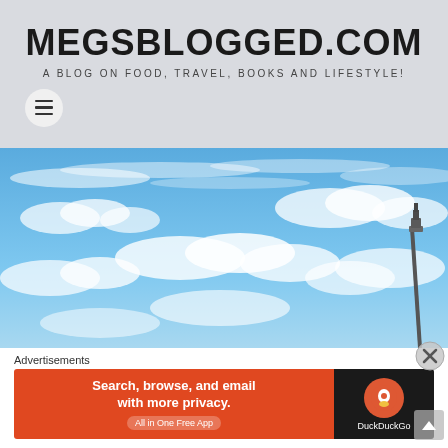MEGSBLOGGED.COM
A BLOG ON FOOD, TRAVEL, BOOKS AND LIFESTYLE!
[Figure (photo): Blue sky with white clouds and a tall tower (likely Tokyo Skytree) visible in the lower right corner]
Advertisements
[Figure (screenshot): DuckDuckGo advertisement banner: orange left side reads 'Search, browse, and email with more privacy. All in One Free App'; dark right side shows DuckDuckGo logo and name]